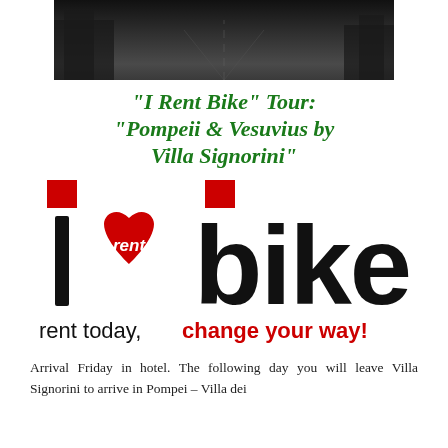[Figure (photo): Dark sepia/black-and-white photograph of a road or street, cropped at the top of the page]
"I Rent Bike" Tour: "Pompeii & Vesuvius by Villa Signorini"
[Figure (logo): I Rent Bike logo: letter i with red square, heart with 'rent' text, 'bike' in large bold black letters, tagline 'rent today, change your way!' in black and red]
Arrival Friday in hotel. The following day you will leave Villa Signorini to arrive in Pompei – Villa dei